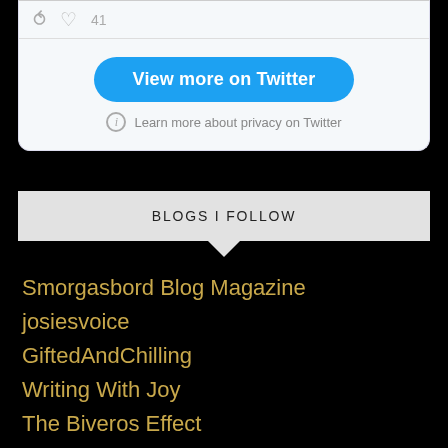[Figure (screenshot): Top portion of a Twitter embedded widget showing a thin top bar with icons, a blue 'View more on Twitter' button, and a privacy notice line below it on a light grey background.]
View more on Twitter
Learn more about privacy on Twitter
BLOGS I FOLLOW
Smorgasbord Blog Magazine
josiesvoice
GiftedAndChilling
Writing With Joy
The Biveros Effect
huntingfeynman87